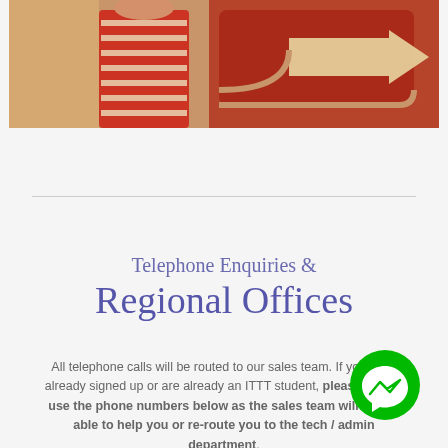[Figure (photo): Photo of a person in a red and white striped shirt standing in front of reddish-orange directional signs with arrows]
Telephone Enquiries &
Regional Offices
All telephone calls will be routed to our sales team. If you have already signed up or are already an ITTT student, please do not use the phone numbers below as the sales team will not be able to help you or re-route you to the tech / admin department.